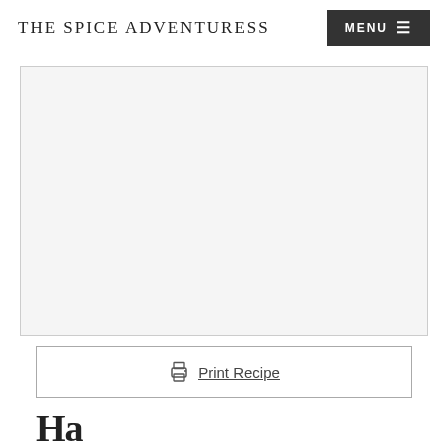THE SPICE ADVENTURESS
[Figure (other): Advertisement placeholder area, light gray box with border]
Print Recipe
Ha